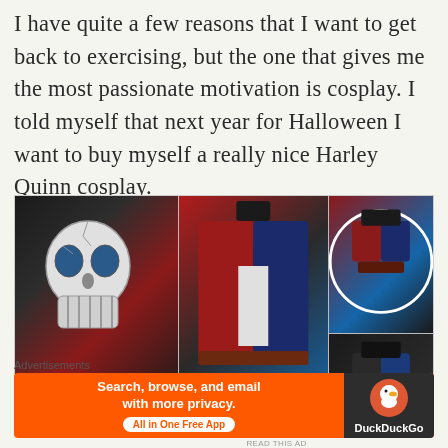I have quite a few reasons that I want to get back to exercising, but the one that gives me the most passionate motivation is cosplay. I told myself that next year for Halloween I want to buy myself a really nice Harley Quinn cosplay.
[Figure (photo): Three views of a Harley Quinn cosplay jacket: back view showing skull graphic on black and red leather jacket, front view showing red and blue jacket open with t-shirt underneath, and detail close-up view of collar area.]
Advertisements
[Figure (screenshot): DuckDuckGo advertisement banner showing orange background with text 'Search, browse, and email with more privacy. All in One Free App' and DuckDuckGo logo on dark background on the right.]